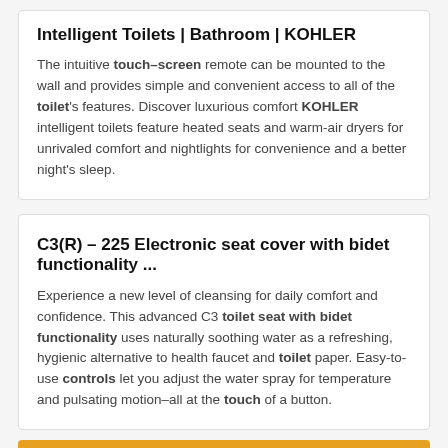Intelligent Toilets | Bathroom | KOHLER
The intuitive touch–screen remote can be mounted to the wall and provides simple and convenient access to all of the toilet's features. Discover luxurious comfort KOHLER intelligent toilets feature heated seats and warm-air dryers for unrivaled comfort and nightlights for convenience and a better night's sleep.
C3(R) – 225 Electronic seat cover with bidet functionality ...
Experience a new level of cleansing for daily comfort and confidence. This advanced C3 toilet seat with bidet functionality uses naturally soothing water as a refreshing, hygienic alternative to health faucet and toilet paper. Easy-to-use controls let you adjust the water spray for temperature and pulsating motion–all at the touch of a button.
Best Seller #3